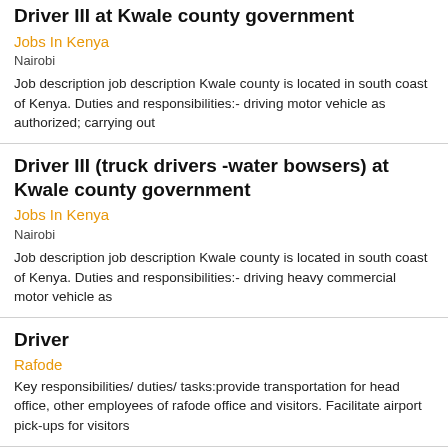Driver III at Kwale county government
Jobs In Kenya
Nairobi
Job description job description Kwale county is located in south coast of Kenya. Duties and responsibilities:- driving motor vehicle as authorized; carrying out
Driver III (truck drivers -water bowsers) at Kwale county government
Jobs In Kenya
Nairobi
Job description job description Kwale county is located in south coast of Kenya. Duties and responsibilities:- driving heavy commercial motor vehicle as
Driver
Rafode
Key responsibilities/ duties/ tasks:provide transportation for head office, other employees of rafode office and visitors. Facilitate airport pick-ups for visitors
Driver
Kenyatta University Teaching Referral And Research Hospital ...
Nairobi
Provide transportation services as needed to move persons and goods within